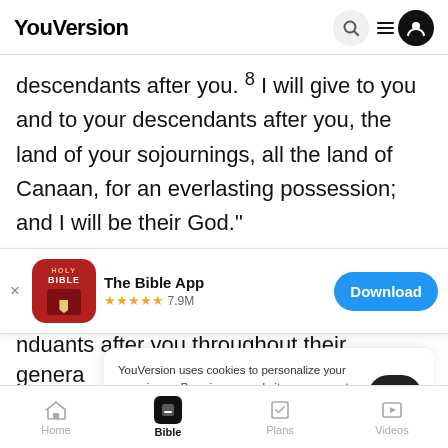YouVersion
descendants after you. ° I will give to you and to your descendants after you, the land of your sojournings, all the land of Canaan, for an everlasting possession; and I will be their God."
[Figure (screenshot): App download banner: Holy Bible app icon, 'The Bible App', 5 stars, 7.9M ratings, Download button]
ndants after you throughout their genera... shall ke...
YouVersion uses cookies to personalize your experience. By using our website, you accept our use of cookies as described in our Privacy Policy.
Home | Bible | Plans | Videos